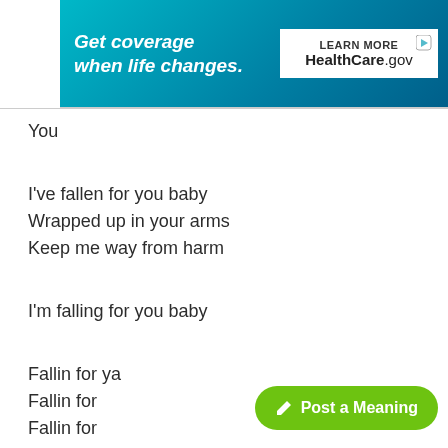[Figure (other): Advertisement banner for HealthCare.gov: 'Get coverage when life changes. LEARN MORE HealthCare.gov']
You
I've fallen for you baby
Wrapped up in your arms
Keep me way from harm
I'm falling for you baby
Fallin for ya
Fallin for
Fallin for
You
Said I'm fallin for ya
Fallin for
Fallin for
[Figure (other): Green button: Post a Meaning]